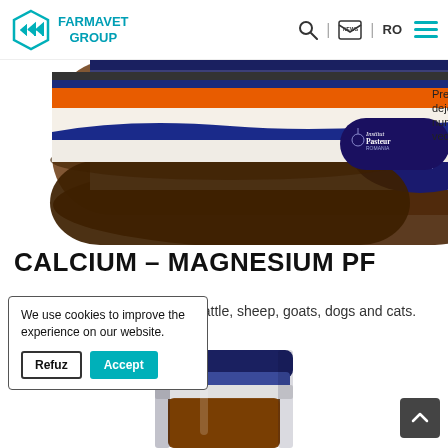FARMAVET GROUP
[Figure (photo): Close-up bottom of an amber glass bottle with orange and white label showing Institut Pasteur Romania logo, partially visible Romanian text on the side]
CALCIUM – MAGNESIUM PF
TARGET SPECIES: Horses, cattle, sheep, goats, dogs and cats.
[Figure (photo): Top portion of an amber glass injection bottle with dark blue and white metal cap/seal, on white background]
We use cookies to improve the experience on our website.
Refuz  Accept